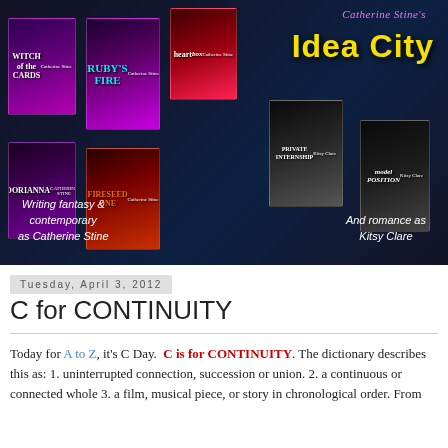[Figure (illustration): Catherine Stine's Idea City blog banner showing multiple book covers (Witch of the Cards, Ruby's Fire, Heart Box, Dorianna, Fireseed One, Private Internship, Model Position) arranged against a city skyline background with a woman sitting on the floor. Text reads: 'Catherine Stine's Idea City', 'Writing fantasy & contemporary as Catherine Stine', 'And romance as Kitsy Clare']
Tuesday, April 3, 2012
C for CONTINUITY
Today for A to Z, it's C Day.  C is for CONTINUITY. The dictionary describes this as: 1. uninterrupted connection, succession or union. 2. a continuous or connected whole 3. a film, musical piece, or story in chronological order. From